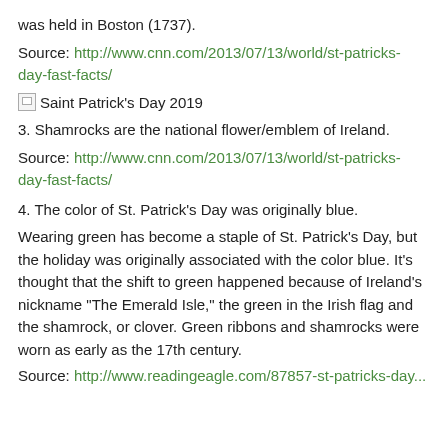was held in Boston (1737).
Source: http://www.cnn.com/2013/07/13/world/st-patricks-day-fast-facts/
[Figure (other): Broken image thumbnail labeled Saint Patrick's Day 2019]
3. Shamrocks are the national flower/emblem of Ireland.
Source: http://www.cnn.com/2013/07/13/world/st-patricks-day-fast-facts/
4. The color of St. Patrick’s Day was originally blue.
Wearing green has become a staple of St. Patrick’s Day, but the holiday was originally associated with the color blue. It’s thought that the shift to green happened because of Ireland’s nickname “The Emerald Isle,” the green in the Irish flag and the shamrock, or clover. Green ribbons and shamrocks were worn as early as the 17th century.
Source: http://www.readingeagle.com/87857-st-patricks-day...